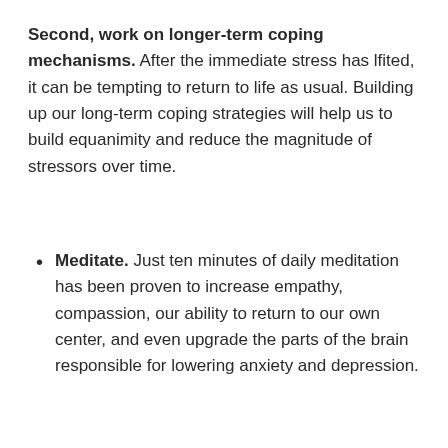Second, work on longer-term coping mechanisms. After the immediate stress has lfited, it can be tempting to return to life as usual. Building up our long-term coping strategies will help us to build equanimity and reduce the magnitude of stressors over time.
Meditate. Just ten minutes of daily meditation has been proven to increase empathy, compassion, our ability to return to our own center, and even upgrade the parts of the brain responsible for lowering anxiety and depression.